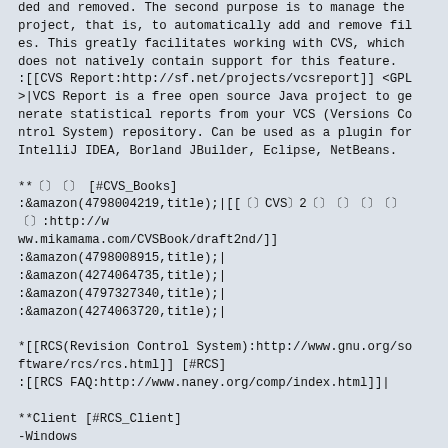ded and removed. The second purpose is to manage the project, that is, to automatically add and remove files. This greatly facilitates working with CVS, which does not natively contain support for this feature.
:[[CVS Report:http://sf.net/projects/vcsreport]] <GPL>|VCS Report is a free open source Java project to generate statistical reports from your VCS (Versions Control System) repository. Can be used as a plugin for IntelliJ IDEA, Borland JBuilder, Eclipse, NetBeans.

**〔〕〔〕 [#CVS_Books]
:&amazon(4798004219,title);|[[〔〕CVS〕2〔〕〔〕〔〕〔〕〔〕:http://www.mikamama.com/CVSBook/draft2nd/]]
:&amazon(4798008915,title);|
:&amazon(4274064735,title);|
:&amazon(4797327340,title);|
:&amazon(4274063720,title);|

*[[RCS(Revision Control System):http://www.gnu.org/software/rcs/rcs.html]] [#RCS]
:[[RCS FAQ:http://www.naney.org/comp/index.html]]|

**Client [#RCS_Client]
-Windows
:[[RCSWinEx:http://sf.net/projects/rcswinex]] <MPL 1.1>|Windows (File Explorer) Front-End to RCS, the Revision Control System. RCSWinEx allows you to perform CHECKINs and CHECKOUTs, of your files via the contextual menu of File Explorer. To use RCSWinEx, RCS must already be installed on your machine.